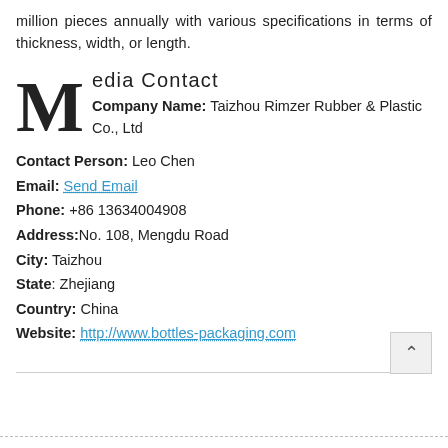million pieces annually with various specifications in terms of thickness, width, or length.
Media Contact
Company Name: Taizhou Rimzer Rubber & Plastic Co., Ltd
Contact Person: Leo Chen
Email: Send Email
Phone: +86 13634004908
Address: No. 108, Mengdu Road
City: Taizhou
State: Zhejiang
Country: China
Website: http://www.bottles-packaging.com